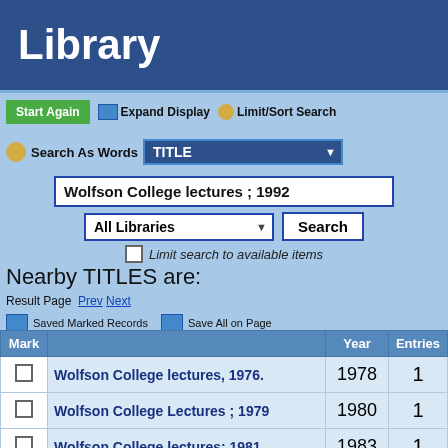Library
Start Again  Expand Display  Limit/Sort Search
Search As Words  TITLE
Wolfson College lectures ; 1992
All Libraries   Search
Limit search to available items
Nearby TITLES are:
Result Page  Prev Next
Saved Marked Records  Save All on Page
| Mark |  | Year | Entries |
| --- | --- | --- | --- |
| ☐ | Wolfson College lectures, 1976. | 1978 | 1 |
| ☐ | Wolfson College Lectures ; 1979 | 1980 | 1 |
| ☐ | Wolfson College lectures; 1981 | 1983 | 1 |
| ☐ | ... | 1980 |  |